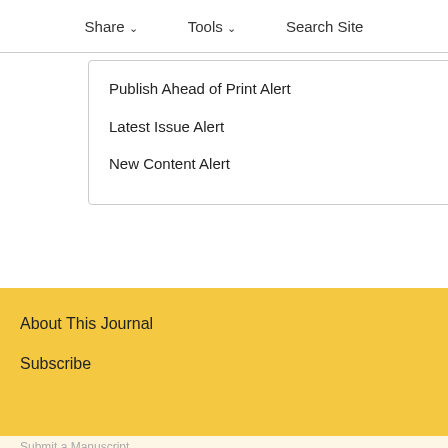Share ∨   Tools ∨   Search Site
Article Activity Alert
Publish Ahead of Print Alert
Latest Issue Alert
New Content Alert
About This Journal
Subscribe
Submit a Manuscript
This site uses cookies. By continuing to use our website, you are agreeing to our privacy policy.
Accept
Society Home
Ichthyology &